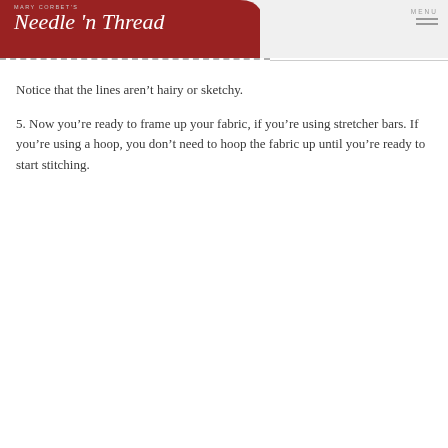MARY CORBET'S Needle 'n Thread | MENU
Notice that the lines aren’t hairy or sketchy.
5. Now you’re ready to frame up your fabric, if you’re using stretcher bars. If you’re using a hoop, you don’t need to hoop the fabric up until you’re ready to start stitching.